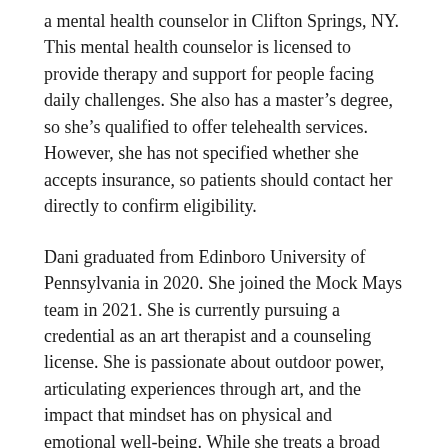a mental health counselor in Clifton Springs, NY. This mental health counselor is licensed to provide therapy and support for people facing daily challenges. She also has a master's degree, so she's qualified to offer telehealth services. However, she has not specified whether she accepts insurance, so patients should contact her directly to confirm eligibility.
Dani graduated from Edinboro University of Pennsylvania in 2020. She joined the Mock Mays team in 2021. She is currently pursuing a credential as an art therapist and a counseling license. She is passionate about outdoor power, articulating experiences through art, and the impact that mindset has on physical and emotional well-being. While she treats a broad range of clients, her specialty areas include depression, anxiety, grief, and stress.